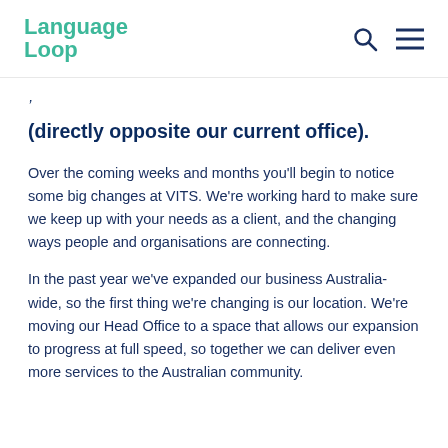Language Loop
(directly opposite our current office).
Over the coming weeks and months you'll begin to notice some big changes at VITS. We're working hard to make sure we keep up with your needs as a client, and the changing ways people and organisations are connecting.
In the past year we've expanded our business Australia-wide, so the first thing we're changing is our location. We're moving our Head Office to a space that allows our expansion to progress at full speed, so together we can deliver even more services to the Australian community.